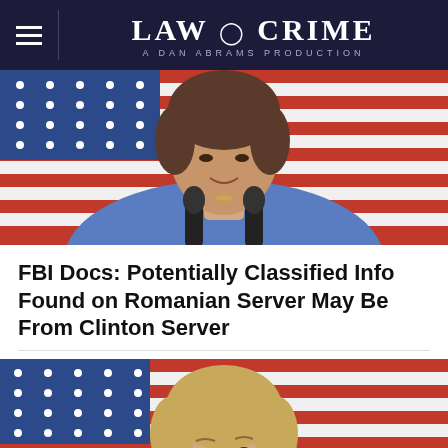LAW & CRIME — A DAN ABRAMS PRODUCTION
[Figure (photo): Photo of Hillary Clinton speaking at a podium with microphones, in front of an American flag background. She is wearing a blue outfit.]
FBI Docs: Potentially Classified Info Found on Romanian Server May Be From Clinton Server
[Figure (photo): Photo of Hillary Clinton speaking, looking upward, in front of an American flag background. She has blonde hair and is wearing a blue top.]